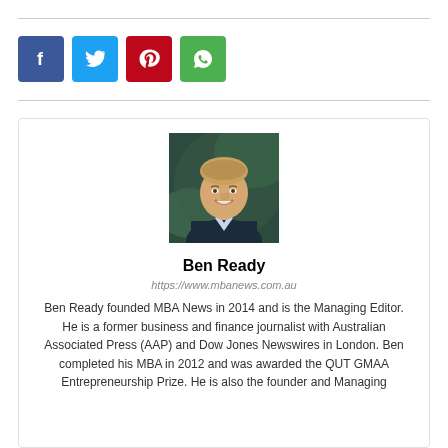[Figure (other): Social media share buttons: Facebook (blue), Twitter (light blue), Pinterest (red), WhatsApp (green)]
[Figure (photo): Headshot photo of Ben Ready, a smiling man in a dark suit, set against a blurred green background]
Ben Ready
https://www.mbanews.com.au
Ben Ready founded MBA News in 2014 and is the Managing Editor. He is a former business and finance journalist with Australian Associated Press (AAP) and Dow Jones Newswires in London. Ben completed his MBA in 2012 and was awarded the QUT GMAA Entrepreneurship Prize. He is also the founder and Managing